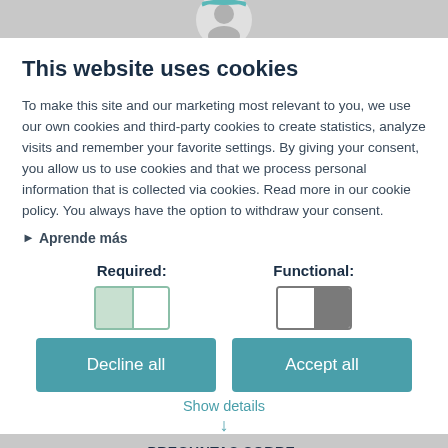[Figure (illustration): Partial avatar/profile icon at top center, cropped by top of modal]
This website uses cookies
To make this site and our marketing most relevant to you, we use our own cookies and third-party cookies to create statistics, analyze visits and remember your favorite settings. By giving your consent, you allow us to use cookies and that we process personal information that is collected via cookies. Read more in our cookie policy. You always have the option to withdraw your consent.
▶ Aprende más
Required:
Functional:
Decline all
Accept all
Show details
PREGUNTAS SOBRE: